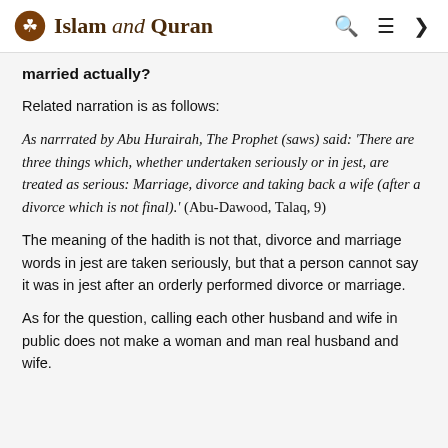Islam and Quran
married actually?
Related narration is as follows:
As narrrated by Abu Hurairah, The Prophet (saws) said: 'There are three things which, whether undertaken seriously or in jest, are treated as serious: Marriage, divorce and taking back a wife (after a divorce which is not final).' (Abu-Dawood, Talaq, 9)
The meaning of the hadith is not that, divorce and marriage words in jest are taken seriously, but that a person cannot say it was in jest after an orderly performed divorce or marriage.
As for the question, calling each other husband and wife in public does not make a woman and man real husband and wife.